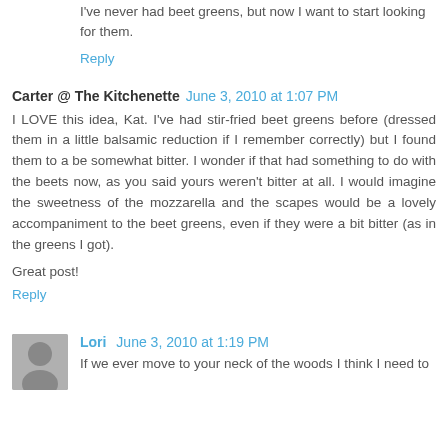I've never had beet greens, but now I want to start looking for them.
Reply
Carter @ The Kitchenette  June 3, 2010 at 1:07 PM
I LOVE this idea, Kat. I've had stir-fried beet greens before (dressed them in a little balsamic reduction if I remember correctly) but I found them to a be somewhat bitter. I wonder if that had something to do with the beets now, as you said yours weren't bitter at all. I would imagine the sweetness of the mozzarella and the scapes would be a lovely accompaniment to the beet greens, even if they were a bit bitter (as in the greens I got).
Great post!
Reply
Lori  June 3, 2010 at 1:19 PM
If we ever move to your neck of the woods I think I need to